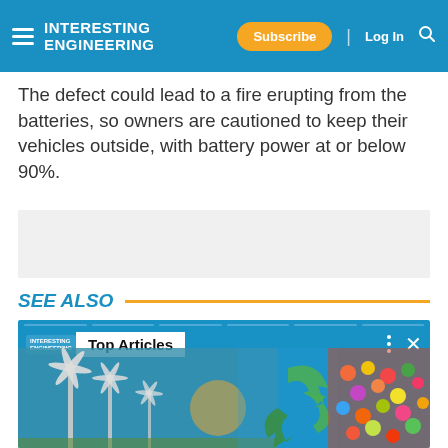INTERESTING ENGINEERING | Subscribe | Log In
The defect could lead to a fire erupting from the batteries, so owners are cautioned to keep their vehicles outside, with battery power at or below 90%.
[Figure (other): Advertisement placeholder box (gray background)]
SEE ALSO
[Figure (illustration): Top Articles promotional panel showing wind turbines, a green recycling arrow icon, and colorful gummy bears on a blue background. Contains Interesting Engineering logo, 'Top Articles' label, progress bar segments, and close/more controls.]